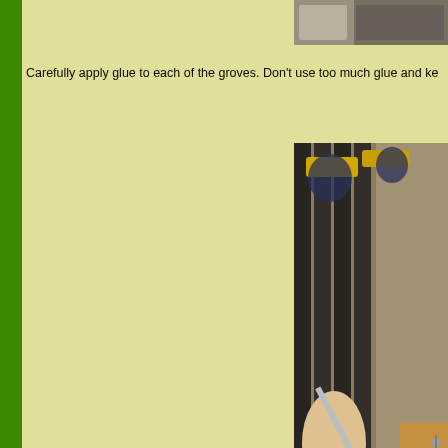[Figure (photo): Partial view of woodworking clamps holding pieces on a workbench, top of page]
Carefully apply glue to each of the groves. Don't use too much glue and ke
[Figure (photo): Person applying glue into grooves of wood pieces held together with yellow clamps on a workbench]
The glueup should look something like this.
[Figure (photo): Bottom view of glue-up assembly with clamps on a workbench]